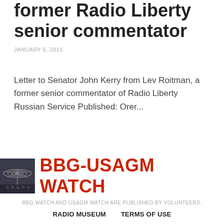former Radio Liberty senior commentator
JANUARY 5, 2013
Letter to Senator John Kerry from Lev Roitman, a former senior commentator of Radio Liberty Russian Service Published: Orer...
[Figure (logo): BBG-USAGM WATCH logo with radio dish image on left and red bold text on right]
BBG WATCH AND USAGM WATCH ARE PUBLISHED BY VOLUNTEERS.
RADIO MUSEUM   TERMS OF USE